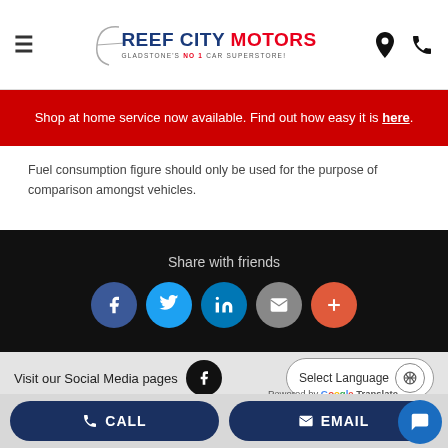Reef City Motors — Gladstone's No 1 Car Superstore!
Shop at home service now available. Find out how easy it is here.
Fuel consumption figure should only be used for the purpose of comparison amongst vehicles.
Share with friends
[Figure (infographic): Social share buttons: Facebook (blue), Twitter (light blue), LinkedIn (blue), Email (grey), More (orange-red)]
Visit our Social Media pages
Select Language — Powered by Google Translate
Brands  Shop  Sell  Offers  Financing  Service
CALL  EMAIL